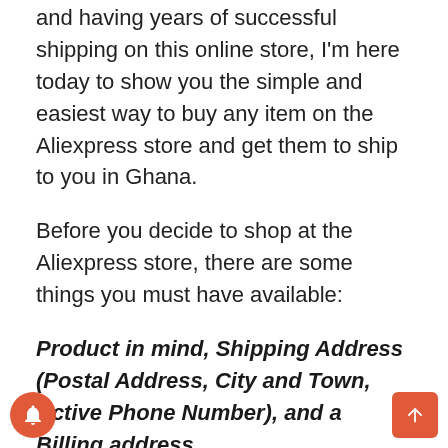and having years of successful shipping on this online store, I'm here today to show you the simple and easiest way to buy any item on the Aliexpress store and get them to ship to you in Ghana.
Before you decide to shop at the Aliexpress store, there are some things you must have available:
Product in mind, Shipping Address (Postal Address, City and Town, Active Phone Number), and a Billing address.
Once you have these things available. The next thing to do is to head over to the Aliexpress website through the address https://www.aliexpress.com and you'll be taking to the homepage of the